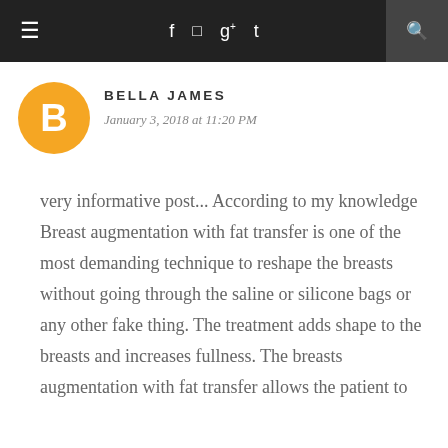≡  f  [instagram]  g+  t  [search]
[Figure (logo): Blogger orange circle avatar with white B letter]
BELLA JAMES
January 3, 2018 at 11:20 PM
very informative post... According to my knowledge Breast augmentation with fat transfer is one of the most demanding technique to reshape the breasts without going through the saline or silicone bags or any other fake thing. The treatment adds shape to the breasts and increases fullness. The breasts augmentation with fat transfer allows the patient to